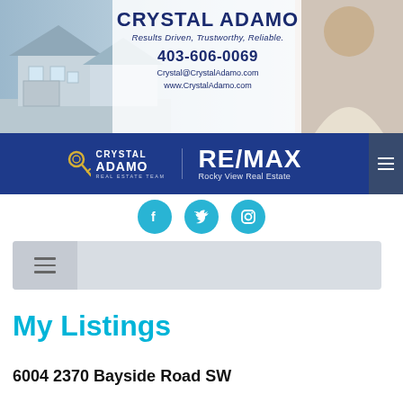[Figure (illustration): Real estate agent header banner with house background photo, Crystal Adamo branding, phone/email/website, and photo of female agent on the right]
[Figure (logo): Blue banner with Crystal Adamo Real Estate Team logo and RE/MAX Rocky View Real Estate logo]
[Figure (infographic): Three cyan social media icons: Facebook, Twitter, Instagram]
[Figure (other): Navigation bar with hamburger menu icon]
My Listings
6004 2370 Bayside Road SW